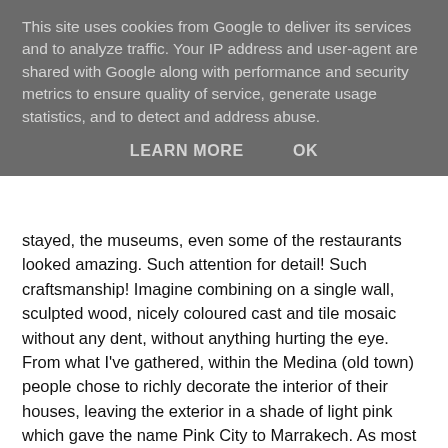This site uses cookies from Google to deliver its services and to analyze traffic. Your IP address and user-agent are shared with Google along with performance and security metrics to ensure quality of service, generate usage statistics, and to detect and address abuse.
LEARN MORE   OK
stayed, the museums, even some of the restaurants looked amazing. Such attention for detail! Such craftsmanship! Imagine combining on a single wall, sculpted wood, nicely coloured cast and tile mosaic without any dent, without anything hurting the eye. From what I've gathered, within the Medina (old town) people chose to richly decorate the interior of their houses, leaving the exterior in a shade of light pink which gave the name Pink City to Marrakech. As most of the museums, riads (B&B or small hotel build in an old traditional Moroccan house with courtyards or gardens) and restaurants within the Medina are in old houses, imagine the abundance of colours and architectural design! So although from the distance or even from within the Medina looks light, dirty pink, inside the houses a whole universe unravels.